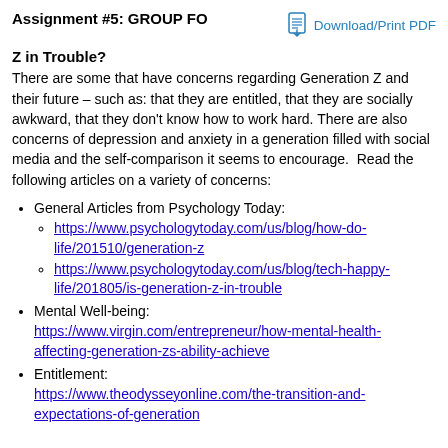Assignment #5: GROUP FOCUS: Is Generation Z in Trouble?
There are some that have concerns regarding Generation Z and their future – such as: that they are entitled, that they are socially awkward, that they don't know how to work hard. There are also concerns of depression and anxiety in a generation filled with social media and the self-comparison it seems to encourage.  Read the following articles on a variety of concerns:
General Articles from Psychology Today:
https://www.psychologytoday.com/us/blog/how-do-life/201510/generation-z
https://www.psychologytoday.com/us/blog/tech-happy-life/201805/is-generation-z-in-trouble
Mental Well-being: https://www.virgin.com/entrepreneur/how-mental-health-affecting-generation-zs-ability-achieve
Entitlement: https://www.theodysseyonline.com/the-transition-and-expectations-of-generation